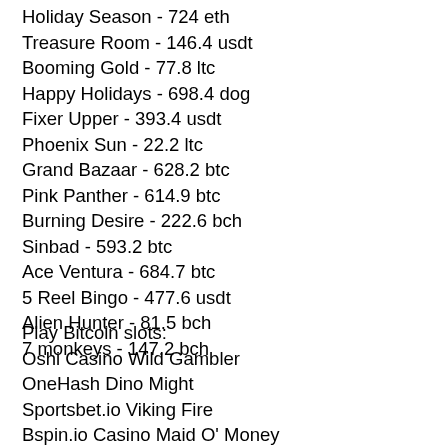Holiday Season - 724 eth
Treasure Room - 146.4 usdt
Booming Gold - 77.8 ltc
Happy Holidays - 698.4 dog
Fixer Upper - 393.4 usdt
Phoenix Sun - 22.2 ltc
Grand Bazaar - 628.2 btc
Pink Panther - 614.9 btc
Burning Desire - 222.6 bch
Sinbad - 593.2 btc
Ace Ventura - 684.7 btc
5 Reel Bingo - 477.6 usdt
Alien Hunter - 81.5 bch
7 monkeys - 147.2 bch
Play Bitcoin slots:
Oshi Casino Wild Gambler
OneHash Dino Might
Sportsbet.io Viking Fire
Bspin.io Casino Maid O' Money